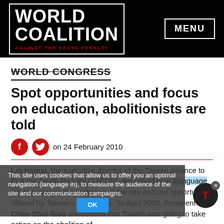WORLD COALITION AGAINST THE DEATH PENALTY | MENU
WORLD CONGRESS
Spot opportunities and focus on education, abolitionists are told
on 24 February 2010
Lin Hsinyi, the executive director of the Taiwan Alliance to End the Death Penalty (TAEDP), described how language in, to measure the audience of the site and our opportunity offered by Taiwan's authorities. "In April 2000, President Chen Shui-bian announced that Taiwan was going to take action on the abolition of
This site uses cookies that allow us to offer you an optimal navigation (language in), to measure the audience of the site and our communication campaigns.